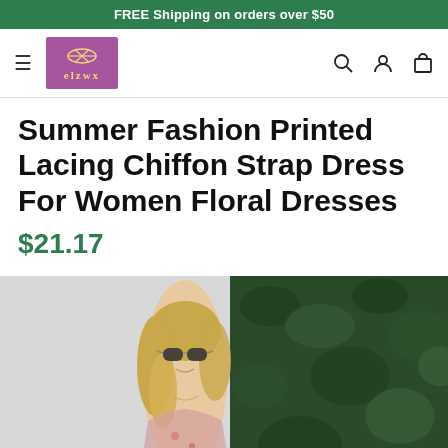FREE Shipping on orders over $50
[Figure (logo): elzwx brand logo, purple square with gold symbol and text]
Summer Fashion Printed Lacing Chiffon Strap Dress For Women Floral Dresses
$21.17
[Figure (photo): Blonde woman wearing sunglasses and a floral strap dress, standing in front of green foliage]